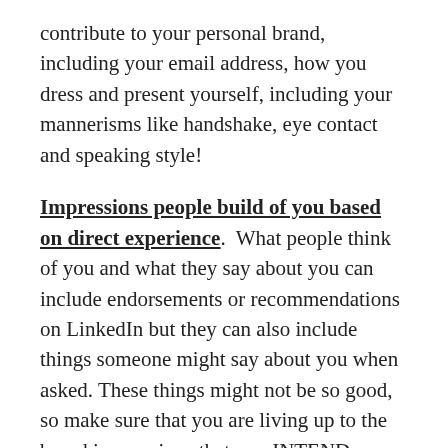contribute to your personal brand, including your email address, how you dress and present yourself, including your mannerisms like handshake, eye contact and speaking style!
Impressions people build of you based on direct experience. What people think of you and what they say about you can include endorsements or recommendations on LinkedIn but they can also include things someone might say about you when asked. These things might not be so good, so make sure that you are living up to the brand impressions that you INTEND.
For example, if you are always late, or cancel on people all the time; If you are are lazy, or gossipy, complaining/bad attitude or careless in